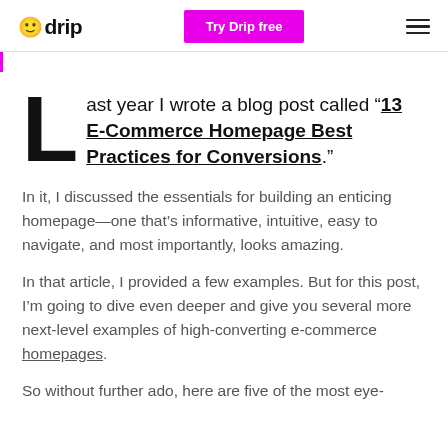drip | Try Drip free
Last year I wrote a blog post called “13 E-Commerce Homepage Best Practices for Conversions.”
In it, I discussed the essentials for building an enticing homepage—one that’s informative, intuitive, easy to navigate, and most importantly, looks amazing.
In that article, I provided a few examples. But for this post, I’m going to dive even deeper and give you several more next-level examples of high-converting e-commerce homepages.
So without further ado, here are five of the most eye-